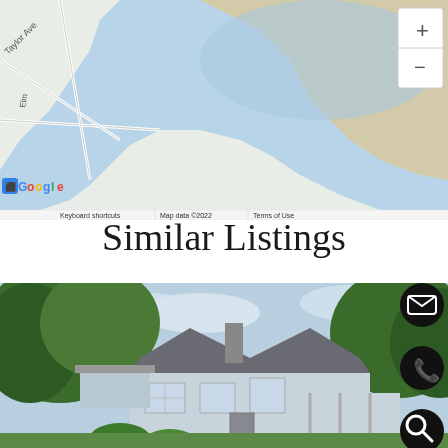[Figure (map): Google Maps screenshot showing a coastal area with roads including Taylor Ave, water body (river/bay), sandy shoreline, and map controls (+/-). Bottom bar shows 'Keyboard shortcuts | Map data ©2022 | Terms of Use'. Google logo visible bottom left.]
Similar Listings
[Figure (photo): Exterior photo of a blue/gray Cape Cod style house with large trees surrounding it. On the right side overlay: 'FOR' label with email icon (black circle), phone icon (black circle), and search icon (black circle).]